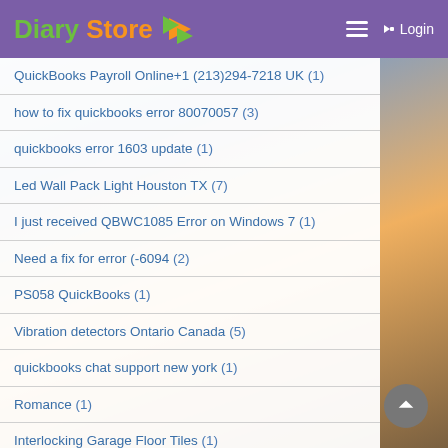Diary Store — Login
QuickBooks Payroll Online+1 (213)294-7218 UK (1)
how to fix quickbooks error 80070057 (3)
quickbooks error 1603 update (1)
Led Wall Pack Light Houston TX (7)
I just received QBWC1085 Error on Windows 7 (1)
Need a fix for error (-6094 (2)
PS058 QuickBooks (1)
Vibration detectors Ontario Canada (5)
quickbooks chat support new york (1)
Romance (1)
Interlocking Garage Floor Tiles (1)
How Do I Remove Password from QuickBooks (1)